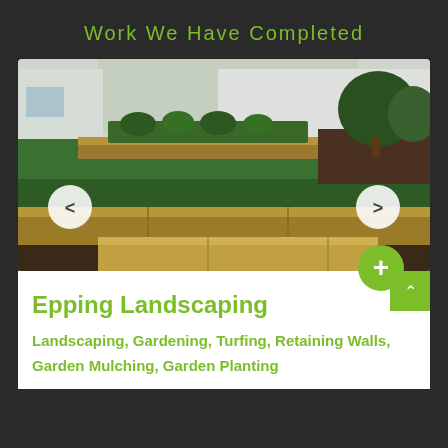Work We Have Completed
[Figure (photo): Landscaped backyard with green lawn, wooden retaining walls/steps, garden beds along white fence, trees and shrubs visible, navigation arrows on sides]
Epping Landscaping
Landscaping, Gardening, Turfing, Retaining Walls, Garden Mulching, Garden Planting